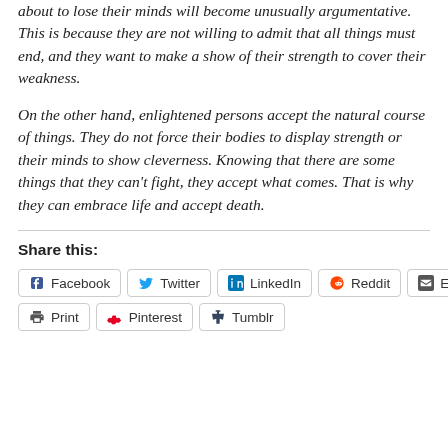about to lose their minds will become unusually argumentative.  This is because they are not willing to admit that all things must end, and they want to make a show of their strength to cover their weakness.
On the other hand, enlightened persons accept the natural course of things.  They do not force their bodies to display strength or their minds to show cleverness.  Knowing that there are some things that they can't fight, they accept what comes.  That is why they can embrace life and accept death.
Share this:
Facebook  Twitter  LinkedIn  Reddit  Email  Print  Pinterest  Tumblr